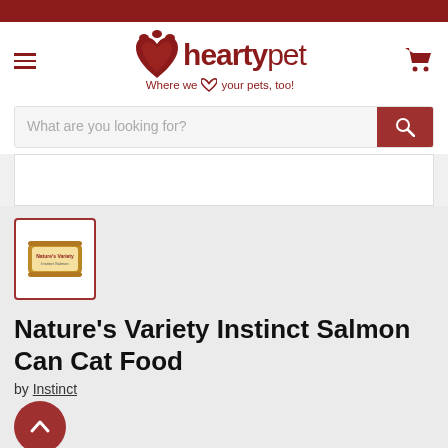heartypet — Where we love your pets, too!
[Figure (screenshot): heartypet logo with paw print and heart icon; tagline: Where we love your pets, too!]
What are you looking for?
[Figure (photo): Product thumbnail image of a cat food can with gold/orange label]
Nature's Variety Instinct Salmon Can Cat Food
by Instinct
$38.00